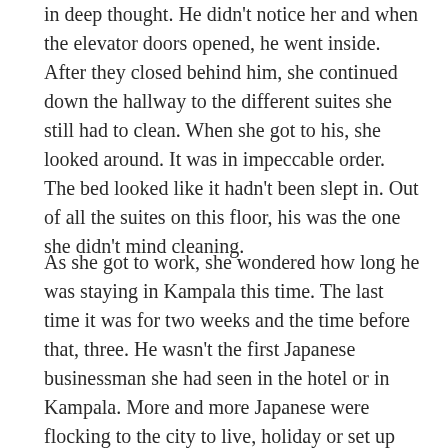in deep thought. He didn't notice her and when the elevator doors opened, he went inside. After they closed behind him, she continued down the hallway to the different suites she still had to clean. When she got to his, she looked around. It was in impeccable order. The bed looked like it hadn't been slept in. Out of all the suites on this floor, his was the one she didn't mind cleaning.
As she got to work, she wondered how long he was staying in Kampala this time. The last time it was for two weeks and the time before that, three. He wasn't the first Japanese businessman she had seen in the hotel or in Kampala. More and more Japanese were flocking to the city to live, holiday or set up businesses. Was he planning to live here or to set up a business? What about his family? Did he have a wife and children? He looked young–in his mid to late thirties.